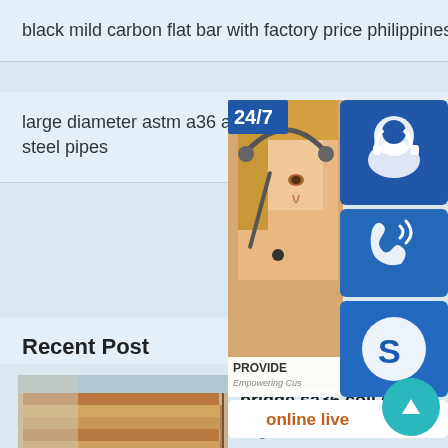black mild carbon flat bar with factory price philippines
large diameter astm a36 api 5l x steel pipes
Recent Post
[Figure (photo): Stack of steel plates/coils in outdoor setting]
bridge sa36 coil grade
August 29, 2020
[Figure (infographic): Customer service sidebar with 24/7 label, agent photo with headset, phone icon, Skype icon, PROVIDE Empowering Customers text, and online live button]